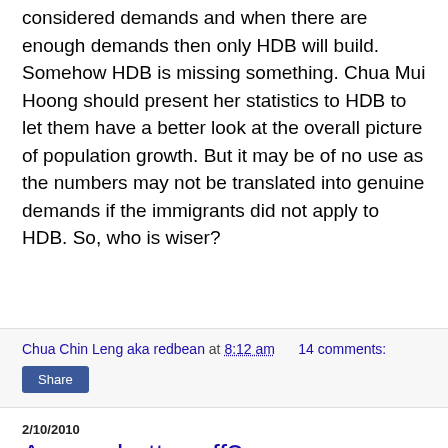considered demands and when there are enough demands then only HDB will build. Somehow HDB is missing something. Chua Mui Hoong should present her statistics to HDB to let them have a better look at the overall picture of population growth. But it may be of no use as the numbers may not be translated into genuine demands if the immigrants did not apply to HDB. So, who is wiser?
Chua Chin Leng aka redbean at 8:12 am    14 comments:
Share
2/10/2010
Are we better off?
An analysis of the UBS study: Singapore has the lowest wages and domestic purchasing power among the Asian Tigers By Eugene Yeo, Consultant Editor The worldwide study conducted and released by UBS lately, titled "Price and Earnings 2009" has some unflattering results for Singapore. (download the study here) While our economy